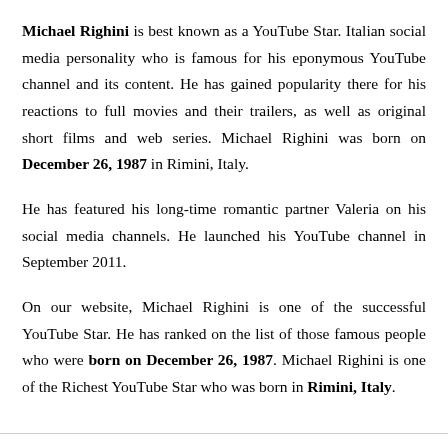Michael Righini is best known as a YouTube Star. Italian social media personality who is famous for his eponymous YouTube channel and its content. He has gained popularity there for his reactions to full movies and their trailers, as well as original short films and web series. Michael Righini was born on December 26, 1987 in Rimini, Italy.
He has featured his long-time romantic partner Valeria on his social media channels. He launched his YouTube channel in September 2011.
On our website, Michael Righini is one of the successful YouTube Star. He has ranked on the list of those famous people who were born on December 26, 1987. Michael Righini is one of the Richest YouTube Star who was born in Rimini, Italy.